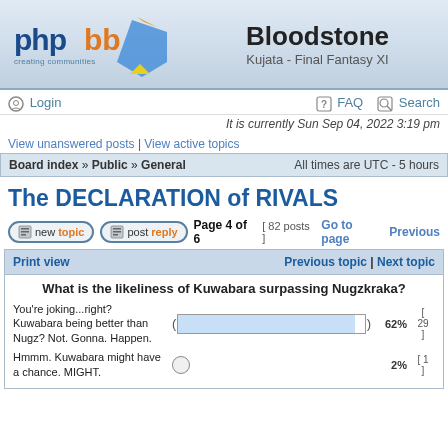[Figure (logo): phpBB logo with 'creating communities' tagline and blue/orange pentagon graphic]
Bloodstone
Kujata - Final Fantasy XI
Login
FAQ
Search
It is currently Sun Sep 04, 2022 3:19 pm
View unanswered posts | View active topics
Board index » Public » General    All times are UTC - 5 hours
The DECLARATION of RIVALS
Page 4 of 6  [ 82 posts ]  Go to page  Previous
Print view    Previous topic | Next topic
What is the likeliness of Kuwabara surpassing Nugzkraka?
You're joking...right? Kuwabara being better than Nugz? Not. Gonna. Happen.   62%  [29]
Hmmm. Kuwabara might have a chance. MIGHT.   2%  [1]